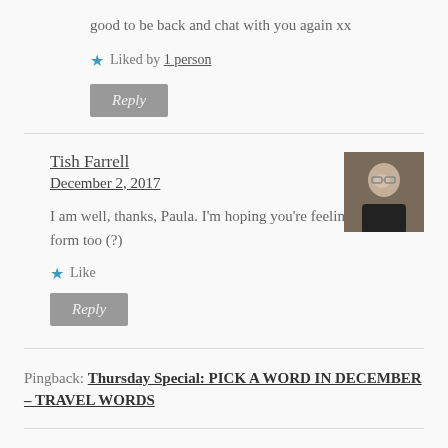good to be back and chat with you again xx
★ Liked by 1 person
Reply
Tish Farrell
December 2, 2017
[Figure (photo): Small avatar photo of a person with light hair]
I am well, thanks, Paula. I'm hoping you're feeling more on form too (?)
★ Like
Reply
Pingback: Thursday Special: PICK A WORD IN DECEMBER – TRAVEL WORDS